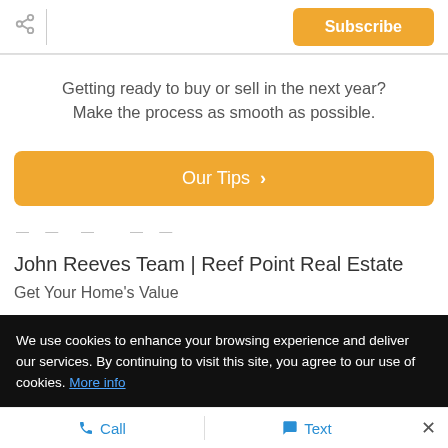Subscribe
Getting ready to buy or sell in the next year? Make the process as smooth as possible.
Our Tips >
John Reeves Team | Reef Point Real Estate
Get Your Home's Value
We use cookies to enhance your browsing experience and deliver our services. By continuing to visit this site, you agree to our use of cookies. More info
Call   Text